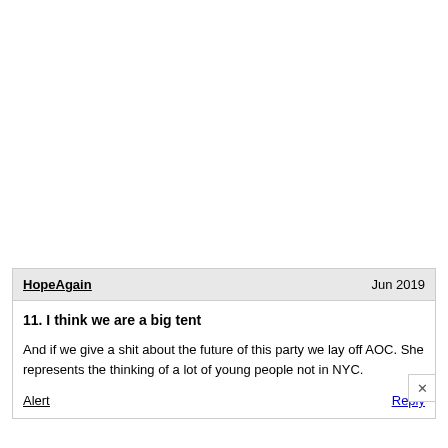HopeAgain   Jun 2019
11. I think we are a big tent
And if we give a shit about the future of this party we lay off AOC. She represents the thinking of a lot of young people not in NYC.
Alert   Reply